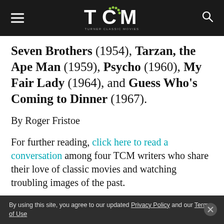TCM — TURNER CLASSIC MOVIES
Seven Brothers (1954), Tarzan, the Ape Man (1959), Psycho (1960), My Fair Lady (1964), and Guess Who's Coming to Dinner (1967).
By Roger Fristoe
For further reading, click here to read a conversation among four TCM writers who share their love of classic movies and watching troubling images of the past.
By using this site, you agree to our updated Privacy Policy and our Terms of Use